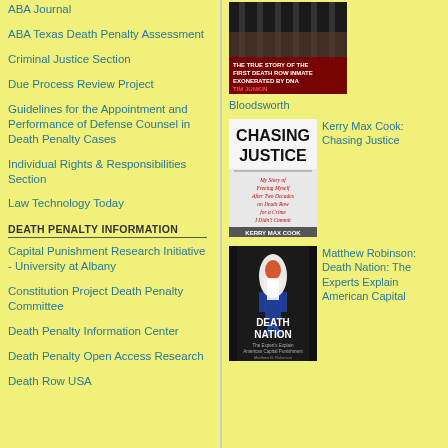ABA Journal
ABA Texas Death Penalty Assessment
Criminal Justice Section
Due Process Review Project
Guidelines for the Appointment and Performance of Defense Counsel in Death Penalty Cases
Individual Rights & Responsibilities Section
Law Technology Today
DEATH PENALTY INFORMATION
Capital Punishment Research Initiative - University at Albany
Constitution Project Death Penalty Committee
Death Penalty Information Center
Death Penalty Open Access Research
Death Row USA
[Figure (photo): Book cover: Bloodsworth - The True Story of the First Death Row Inmate Exonerated by DNA, by Tim Junkin]
Bloodsworth
[Figure (photo): Book cover: Chasing Justice - My Story of Freeing Myself After Two Decades on Death Row for a Crime I Didn't Commit, by Kerry Max Cook]
Kerry Max Cook: Chasing Justice
[Figure (photo): Book cover: Death Nation - The Expert's Explain American Capital Punishment, by Matthew B. Robinson]
Matthew Robinson: Death Nation: The Experts Explain American Capital